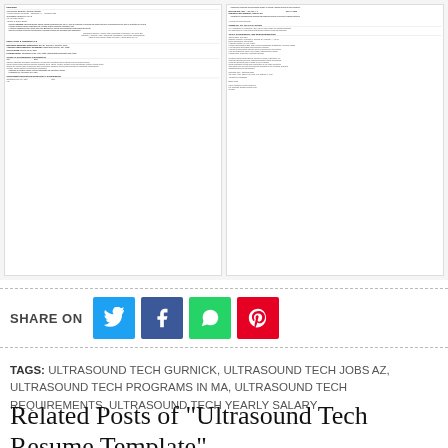[Figure (screenshot): Two resume template thumbnail previews side by side showing ultrasound tech resume examples with sections for Education, Experience, Skills, and Certifications]
SHARE ON
TAGS: ULTRASOUND TECH GURNICK, ULTRASOUND TECH JOBS AZ, ULTRASOUND TECH PROGRAMS IN MA, ULTRASOUND TECH REQUIREMENTS, ULTRASOUND TECH YEARLY SALARY
Related Posts of "Ultrasound Tech Resume Template"